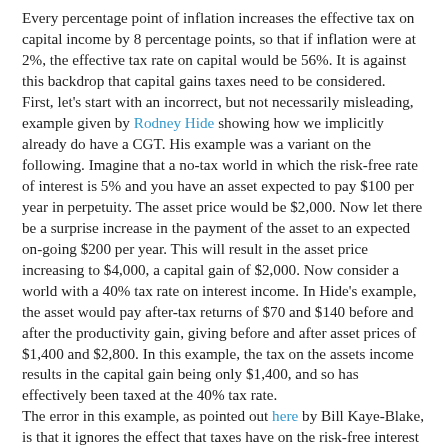Every percentage point of inflation increases the effective tax on capital income by 8 percentage points, so that if inflation were at 2%, the effective tax rate on capital would be 56%. It is against this backdrop that capital gains taxes need to be considered. First, let's start with an incorrect, but not necessarily misleading, example given by Rodney Hide showing how we implicitly already do have a CGT. His example was a variant on the following. Imagine that a no-tax world in which the risk-free rate of interest is 5% and you have an asset expected to pay $100 per year in perpetuity. The asset price would be $2,000. Now let there be a surprise increase in the payment of the asset to an expected on-going $200 per year. This will result in the asset price increasing to $4,000, a capital gain of $2,000. Now consider a world with a 40% tax rate on interest income. In Hide's example, the asset would pay after-tax returns of $70 and $140 before and after the productivity gain, giving before and after asset prices of $1,400 and $2,800. In this example, the tax on the assets income results in the capital gain being only $1,400, and so has effectively been taxed at the 40% tax rate. The error in this example, as pointed out here by Bill Kaye-Blake, is that it ignores the effect that taxes have on the risk-free interest rate. If the 40% tax rate applies to interest income as well as the